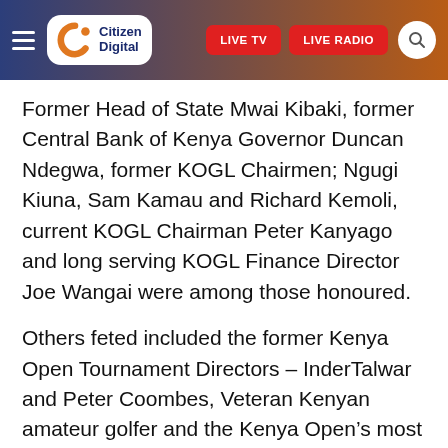Citizen Digital — LIVE TV | LIVE RADIO
Former Head of State Mwai Kibaki, former Central Bank of Kenya Governor Duncan Ndegwa, former KOGL Chairmen; Ngugi Kiuna, Sam Kamau and Richard Kemoli, current KOGL Chairman Peter Kanyago and long serving KOGL Finance Director Joe Wangai were among those honoured.
Others feted included the former Kenya Open Tournament Directors – InderTalwar and Peter Coombes, Veteran Kenyan amateur golfer and the Kenya Open's most successful amateur player – David Farrar, former East African Breweries Ltd Chairman Jeremiah Kiereini and veteran golf